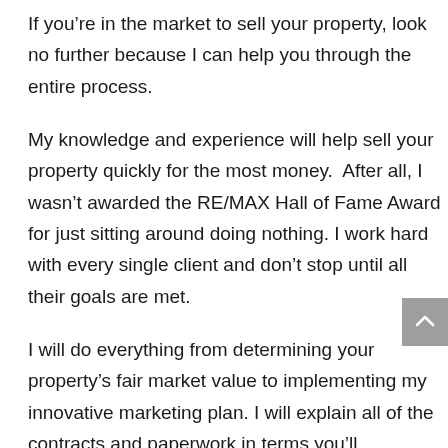If you’re in the market to sell your property, look no further because I can help you through the entire process.
My knowledge and experience will help sell your property quickly for the most money.  After all, I wasn’t awarded the RE/MAX Hall of Fame Award for just sitting around doing nothing. I work hard with every single client and don’t stop until all their goals are met.
I will do everything from determining your property’s fair market value to implementing my innovative marketing plan. I will explain all of the contracts and paperwork in terms you’ll understand